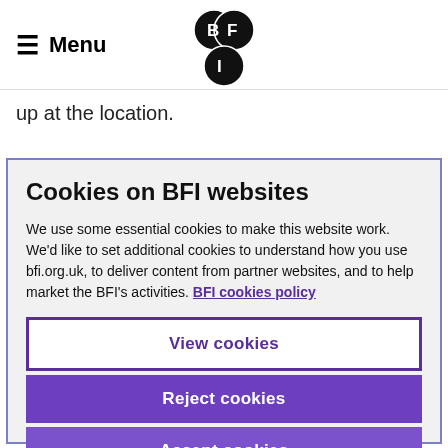Menu | BFI Logo
up at the location.
Cookies on BFI websites
We use some essential cookies to make this website work. We'd like to set additional cookies to understand how you use bfi.org.uk, to deliver content from partner websites, and to help market the BFI's activities. BFI cookies policy
View cookies
Reject cookies
Accept cookies